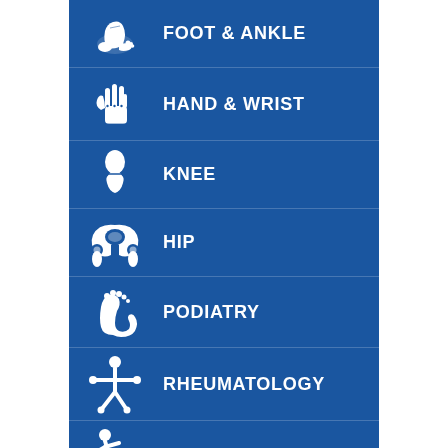FOOT & ANKLE
HAND & WRIST
KNEE
HIP
PODIATRY
RHEUMATOLOGY
SPORTS MEDICINE